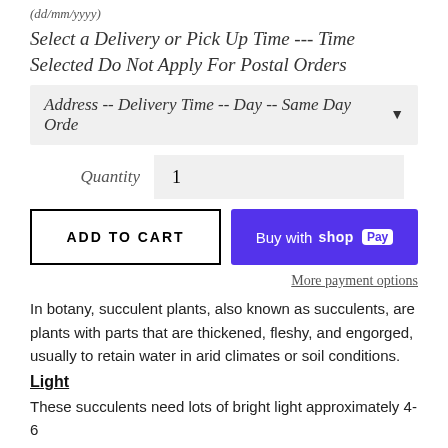(dd/mm/yyyy)
Select a Delivery or Pick Up Time --- Time Selected Do Not Apply For Postal Orders
Address -- Delivery Time -- Day -- Same Day Orde
Quantity  1
ADD TO CART
Buy with Shop Pay
More payment options
In botany, succulent plants, also known as succulents, are plants with parts that are thickened, fleshy, and engorged, usually to retain water in arid climates or soil conditions.
Light
These succulents need lots of bright light approximately 4-6